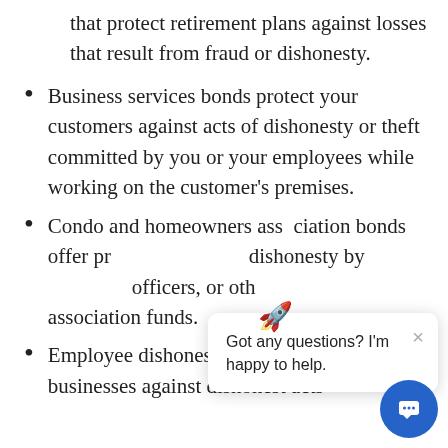that protect retirement plans against losses that result from fraud or dishonesty.
Business services bonds protect your customers against acts of dishonesty or theft committed by you or your employees while working on the customer's premises.
Condo and homeowners association bonds offer protection against dishonesty by directors, officers, or other officials misusing association funds.
Employee dishonesty bonds insure businesses against dishonest acts
Got any questions? I'm happy to help.